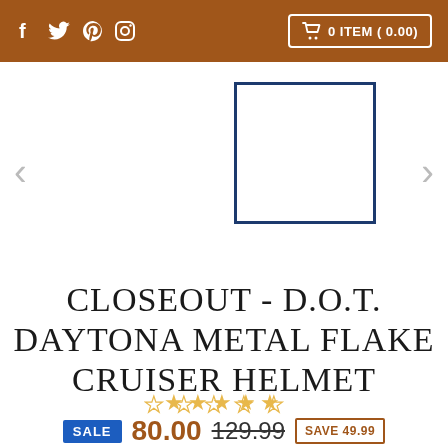f 🐦  pinterest instagram | 🛒 0 ITEM ( 0.00)
[Figure (screenshot): Product image carousel with a white square with dark blue border as thumbnail, left and right navigation arrows]
CLOSEOUT - D.O.T. DAYTONA METAL FLAKE CRUISER HELMET
★★★★★ (empty stars rating)
SALE  80.00  129.99  SAVE 49.99